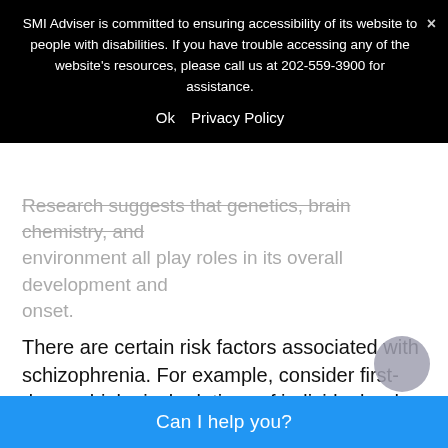SMI Adviser is committed to ensuring accessibility of its website to people with disabilities. If you have trouble accessing any of the website's resources, please call us at 202-559-3900 for assistance.
Ok   Privacy Policy
Research suggests that genetics, brain chemistry, and environment all play roles in its overall development and onset.
There are certain risk factors associated with schizophrenia. For example, consider first-degree biological relatives of individuals who have schizophrenia. They have a risk for schizophrenia that is about 10 times greater than that of the general population. However, many cases of schizophrenia exist in people who have no history of it within their families. In some cases, there is a belief that certain mind-altering drugs taken during adolescence, can contribute to the onset of schizophrenia.
Can I help you?